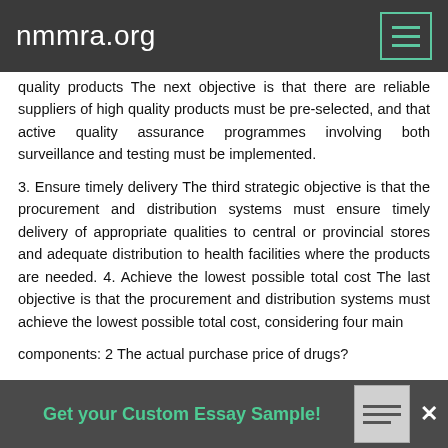nmmra.org
quality products The next objective is that there are reliable suppliers of high quality products must be pre-selected, and that active quality assurance programmes involving both surveillance and testing must be implemented.
3. Ensure timely delivery The third strategic objective is that the procurement and distribution systems must ensure timely delivery of appropriate qualities to central or provincial stores and adequate distribution to health facilities where the products are needed. 4. Achieve the lowest possible total cost The last objective is that the procurement and distribution systems must achieve the lowest possible total cost, considering four main components: 2 The actual purchase price of drugs?
Get your Custom Essay Sample!